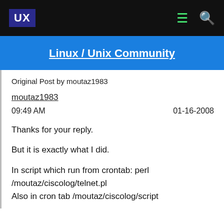UX | Linux / Unix Community
Original Post by moutaz1983
moutaz1983
09:49 AM   01-16-2008
Thanks for your reply.

But it is exactly what I did.

In script which run from crontab: perl /moutaz/ciscolog/telnet.pl
Also in cron tab /moutaz/ciscolog/script